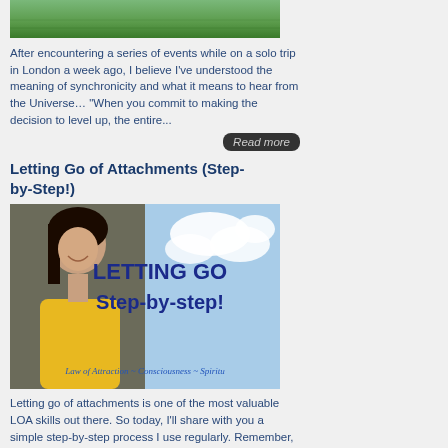[Figure (photo): Grass/lawn photo cropped at top of page]
After encountering a series of events while on a solo trip in London a week ago, I believe I've understood the meaning of synchronicity and what it means to hear from the Universe… "When you commit to making the decision to level up, the entire...
Read more
Letting Go of Attachments (Step-by-Step!)
[Figure (photo): Blog banner image showing a smiling woman in yellow top with text 'LETTING GO Step-by-step!' and subtitle 'Law of Attraction ~ Consciousness ~ Spiritu']
Letting go of attachments is one of the most valuable LOA skills out there. So today, I'll share with you a simple step-by-step process I use regularly. Remember, practice makes perfect. Repeat this process whenever you feel yourself "clinging"